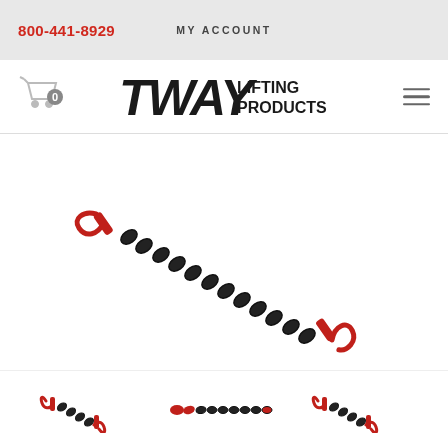800-441-8929  MY ACCOUNT
[Figure (logo): Tway Lifting Products logo with cart icon and hamburger menu]
[Figure (photo): A lifting chain with red hooks on both ends against white background — main product image]
[Figure (photo): Three thumbnail images of the same lifting chain product from different angles]